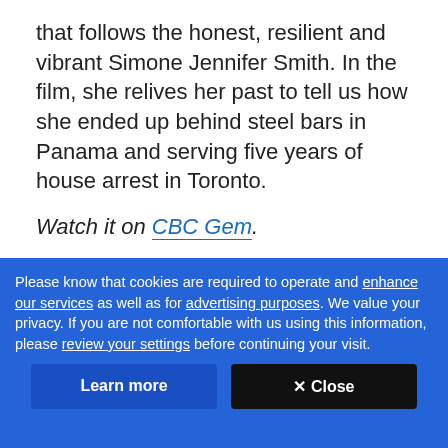that follows the honest, resilient and vibrant Simone Jennifer Smith. In the film, she relives her past to tell us how she ended up behind steel bars in Panama and serving five years of house arrest in Toronto.
Watch it on CBC Gem.
[Figure (photo): A person wearing a red hat, photographed through what appears to be a gate or bars in a dark setting.]
Please know that cookies are required to operate and enhance our services as well as for advertising purposes. We value your privacy. If you are not comfortable with us using this information, please review your settings before continuing your visit.